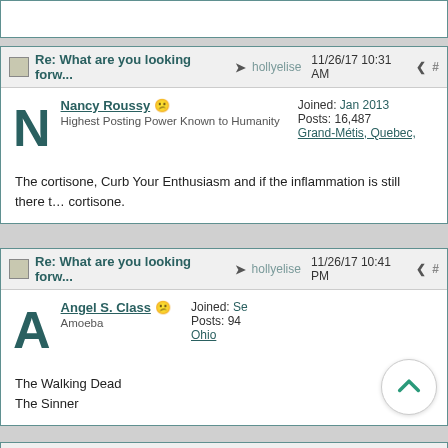Re: What are you looking forw... hollyelise 11/26/17 10:31 AM #
Nancy Roussy | Highest Posting Power Known to Humanity | Joined: Jan 2013 | Posts: 16,487 | Grand-Métis, Quebec
The cortisone, Curb Your Enthusiasm and if the inflammation is still there t... cortisone.
Re: What are you looking forw... hollyelise 11/26/17 10:41 PM #
Angel S. Class | Amoeba | Joined: Se... | Posts: 94 | Ohio
The Walking Dead
The Sinner
Re: What are you looking forw... hollyelise 11/27/17 10:55 AM